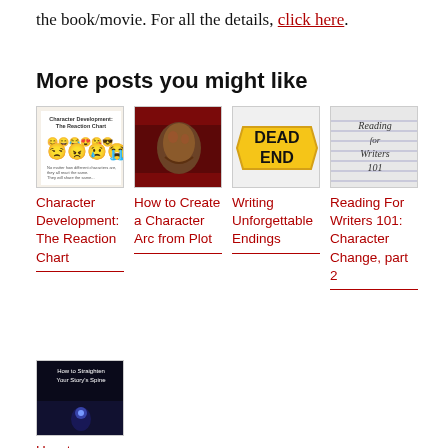the book/movie. For all the details, click here.
More posts you might like
[Figure (illustration): Thumbnail for Character Development: The Reaction Chart - shows emoji faces on yellow background with title text]
Character Development: The Reaction Chart
[Figure (photo): Thumbnail showing a cat or animal against a dark red/maroon background]
How to Create a Character Arc from Plot
[Figure (photo): Thumbnail showing a yellow diamond Dead End road sign]
Writing Unforgettable Endings
[Figure (photo): Thumbnail showing handwritten text 'Reading for Writers 101' on lined paper]
Reading For Writers 101: Character Change, part 2
[Figure (photo): Thumbnail showing 'How to Straighten Your Story's Spine' text over dark image of person on stage]
How to Straighte